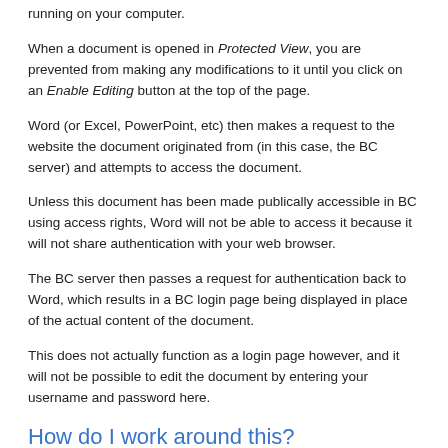running on your computer.
When a document is opened in Protected View, you are prevented from making any modifications to it until you click on an Enable Editing button at the top of the page.
Word (or Excel, PowerPoint, etc) then makes a request to the website the document originated from (in this case, the BC server) and attempts to access the document.
Unless this document has been made publically accessible in BC using access rights, Word will not be able to access it because it will not share authentication with your web browser.
The BC server then passes a request for authentication back to Word, which results in a BC login page being displayed in place of the actual content of the document.
This does not actually function as a login page however, and it will not be possible to edit the document by entering your username and password here.
How do I work around this?